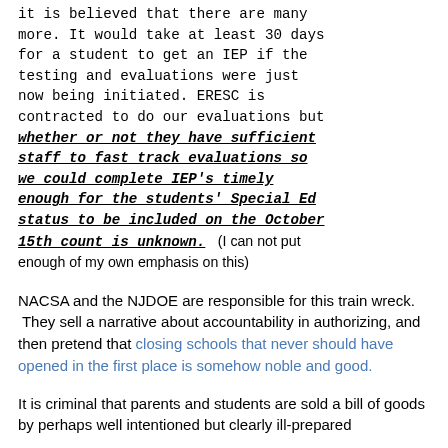it is believed that there are many more. It would take at least 30 days for a student to get an IEP if the testing and evaluations were just now being initiated. ERESC is contracted to do our evaluations but whether or not they have sufficient staff to fast track evaluations so we could complete IEP's timely enough for the students' Special Ed status to be included on the October 15th count is unknown. (I can not put enough of my own emphasis on this)
NACSA and the NJDOE are responsible for this train wreck. They sell a narrative about accountability in authorizing, and then pretend that closing schools that never should have opened in the first place is somehow noble and good.
It is criminal that parents and students are sold a bill of goods by perhaps well intentioned but clearly ill-prepared